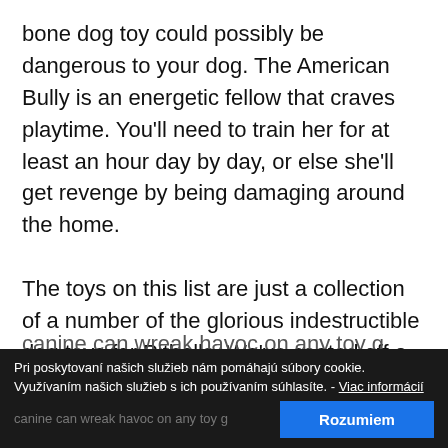bone dog toy could possibly be dangerous to your dog. The American Bully is an energetic fellow that craves playtime. You'll need to train her for at least an hour day by day, or else she'll get revenge by being damaging around the home.

The toys on this list are just a collection of a number of the glorious indestructible dog toys for Pitballs. We've coated off a variety of different toys from lively to distraction toys and defined what a secure dog toy is. Simply keep in mind that no toy canine can wreak havoc on any toy g
Pri poskytovaní našich služieb nám pomáhajú súbory cookie. Využívaním našich služieb s ich používaním súhlasíte. - Viac informácií  Rozumiem